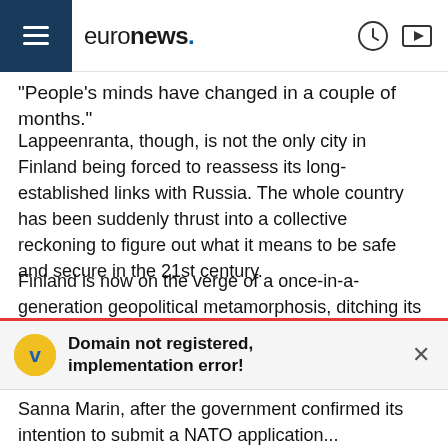euronews.
"People's minds have changed in a couple of months."
Lappeenranta, though, is not the only city in Finland being forced to reassess its long-established links with Russia. The whole country has been suddenly thrust into a collective reckoning to figure out what it means to be safe and secure in the 21st century.
Finland is now on the verge of a once-in-a-generation geopolitical metamorphosis, ditching its traditionally non-aligned status to turn into a fully-fledged member of NATO, the transatlantic military alliance.
Domain not registered, implementation error!
Sanna Marin, after the government confirmed its intention to submit a NATO application...